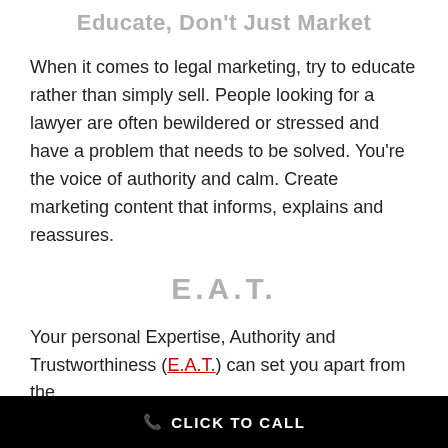Educate, Don't Just Market
When it comes to legal marketing, try to educate rather than simply sell. People looking for a lawyer are often bewildered or stressed and have a problem that needs to be solved. You’re the voice of authority and calm. Create marketing content that informs, explains and reassures.
E.A.T.
Your personal Expertise, Authority and Trustworthiness (E.A.T.) can set you apart from the
CLICK TO CALL